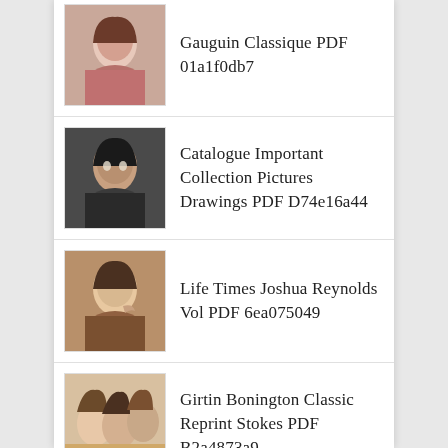Gauguin Classique PDF 01a1f0db7
Catalogue Important Collection Pictures Drawings PDF D74e16a44
Life Times Joshua Reynolds Vol PDF 6ea075049
Girtin Bonington Classic Reprint Stokes PDF B2a4873a9
Scottish Painting Present 1620 1908 Classic PDF 55a96fcd3
Illustrated Catalogue Paintings Including Extraordinary PDF Cbc7f32e1